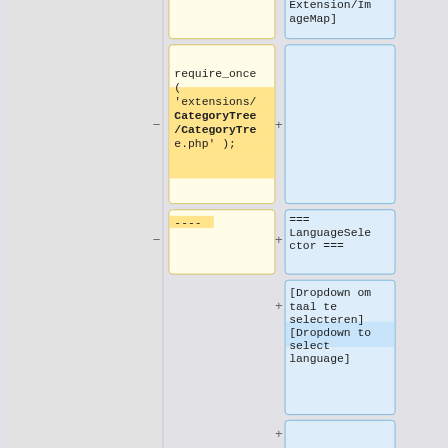[Figure (other): Diff view showing two columns: left (yellow) with removed code and right (blue) with added content. Top section shows 'Extension/ImageMap]' in blue box. Second row: left yellow box with 'require_once ( \'extensions/CategoryTree/CategoryTree.php\' );' (minus operator), right blue box empty (plus operator). Third row: left yellow box with '----' (minus), right blue box with '=== LanguageSelector ===' (plus). Fourth row: right blue box only with '[Dropdown om taal te selecteren] [Dropdown to select language]' (plus). Fifth row: right blue box partial with plus.]